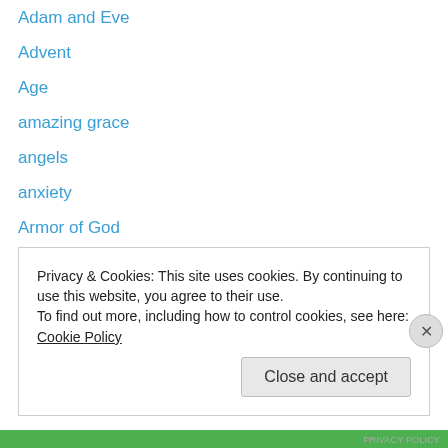Adam and Eve
Advent
Age
amazing grace
angels
anxiety
Armor of God
atonement
baptism
Beatitudes
believe
Bible
Bible characters
Bible study
Privacy & Cookies: This site uses cookies. By continuing to use this website, you agree to their use. To find out more, including how to control cookies, see here: Cookie Policy
Close and accept